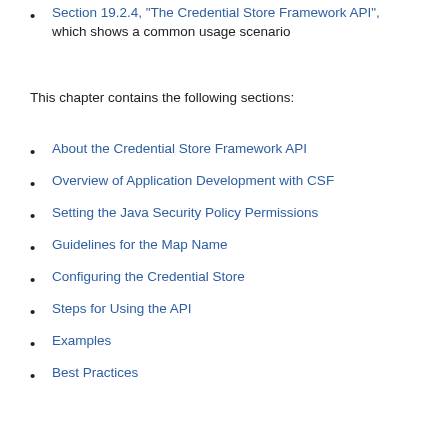Section 19.2.4, "The Credential Store Framework API", which shows a common usage scenario
This chapter contains the following sections:
About the Credential Store Framework API
Overview of Application Development with CSF
Setting the Java Security Policy Permissions
Guidelines for the Map Name
Configuring the Credential Store
Steps for Using the API
Examples
Best Practices